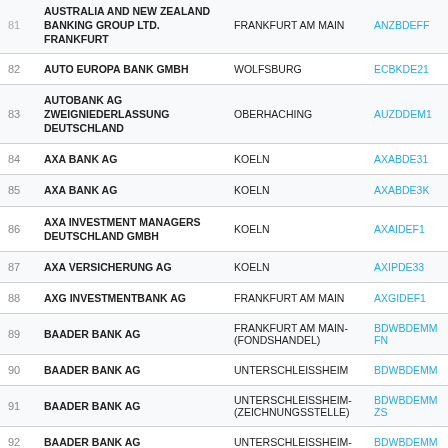| # | Name | City | BIC |
| --- | --- | --- | --- |
| 81 | AUSTRALIA AND NEW ZEALAND BANKING GROUP LTD. FRANKFURT | FRANKFURT AM MAIN | ANZBDEFF |
| 82 | AUTO EUROPA BANK GMBH | WOLFSBURG | ECBKDE21 |
| 83 | AUTOBANK AG ZWEIGNIEDERLASSUNG DEUTSCHLAND | OBERHACHING | AUZDDEM1 |
| 84 | AXA BANK AG | KOELN | AXABDE31 |
| 85 | AXA BANK AG | KOELN | AXABDE3K |
| 86 | AXA INVESTMENT MANAGERS DEUTSCHLAND GMBH | KOELN | AXAIDEF1 |
| 87 | AXA VERSICHERUNG AG | KOELN | AXIPDE33 |
| 88 | AXG INVESTMENTBANK AG | FRANKFURT AM MAIN | AXGIDEF1 |
| 89 | BAADER BANK AG | FRANKFURT AM MAIN-(FONDSHANDEL) | BDWBDEMMFN |
| 90 | BAADER BANK AG | UNTERSCHLEISSHEIM | BDWBDEMM |
| 91 | BAADER BANK AG | UNTERSCHLEISSHEIM-(ZEICHNUNGSSTELLE) | BDWBDEMMZS |
| 92 | BAADER BANK AG | UNTERSCHLEISSHEIM- | BDWBDEMM |